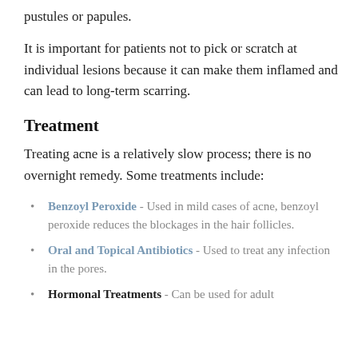pustules or papules.
It is important for patients not to pick or scratch at individual lesions because it can make them inflamed and can lead to long-term scarring.
Treatment
Treating acne is a relatively slow process; there is no overnight remedy. Some treatments include:
Benzoyl Peroxide - Used in mild cases of acne, benzoyl peroxide reduces the blockages in the hair follicles.
Oral and Topical Antibiotics - Used to treat any infection in the pores.
Hormonal Treatments - Can be used for adult